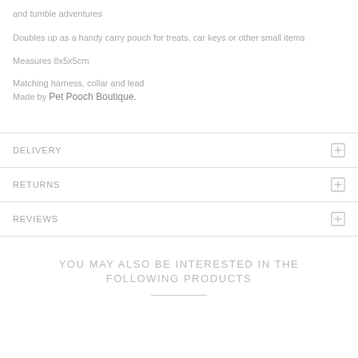and tumble adventures
Doubles up as a handy carry pouch for treats, car keys or other small items
Measures 8x5x5cm
Matching harness, collar and lead
Made by Pet Pooch Boutique.
DELIVERY
RETURNS
REVIEWS
YOU MAY ALSO BE INTERESTED IN THE FOLLOWING PRODUCTS